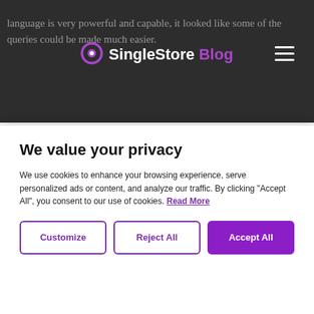language is very powerful and capable, it looked like some of the queries could be made much easier.
[Figure (logo): SingleStore Blog logo with purple circle icon]
MEMSQL FOR TIME SERIES
Goal: Make Time Series Query Easier!
Brief Syntax
Lets average developers do things they couldn't
Lets experts do more, faster!
Non-Goals:
Curve fitting, complex smoothing, differencing/adding time series...
If you need these, consider specialty time series product like Influx, etc
We value your privacy
We use cookies to enhance your browsing experience, serve personalized ads or content, and analyze our traffic. By clicking "Accept All", you consent to our use of cookies. Read More
Customize
Reject All
Accept All